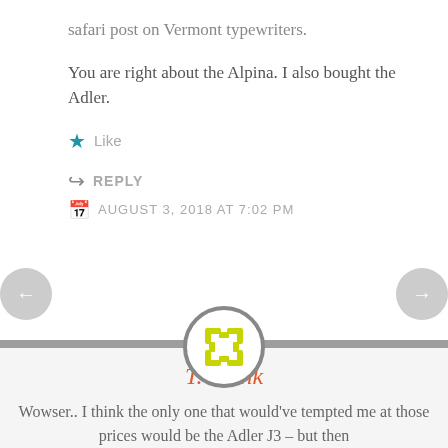safari post on Vermont typewriters.
You are right about the Alpina. I also bought the Adler.
Like
REPLY
AUGUST 3, 2018 AT 7:02 PM
[Figure (illustration): Circular avatar with yellow/lime geometric pattern, bordered in gray, centered on a horizontal divider band.]
T. Munk
Wowser.. I think the only one that would've tempted me at those prices would be the Adler J3 – but then